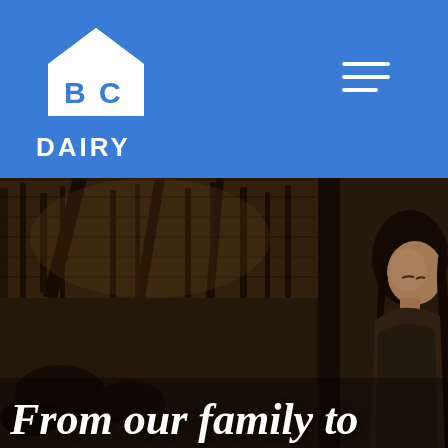[Figure (logo): BC Dairy logo: white house/barn icon with 'BC' text inside and 'DAIRY' text below, on blue background]
[Figure (photo): Barn interior photograph showing wooden beams and structure with a young woman with long dark hair visible on the right side, dimly lit rustic setting]
From our family to